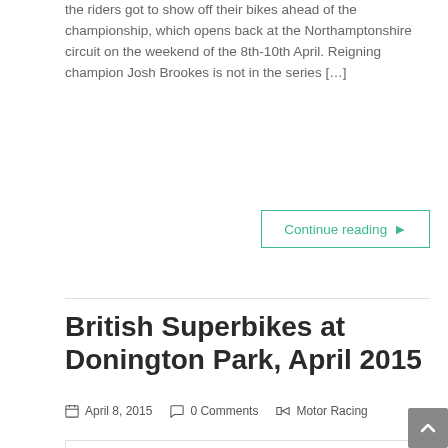the riders got to show off their bikes ahead of the championship, which opens back at the Northamptonshire circuit on the weekend of the 8th-10th April. Reigning champion Josh Brookes is not in the series […]
Continue reading ›
British Superbikes at Donington Park, April 2015
April 8, 2015  0 Comments  Motor Racing
[Figure (photo): Partial image box at bottom of page]